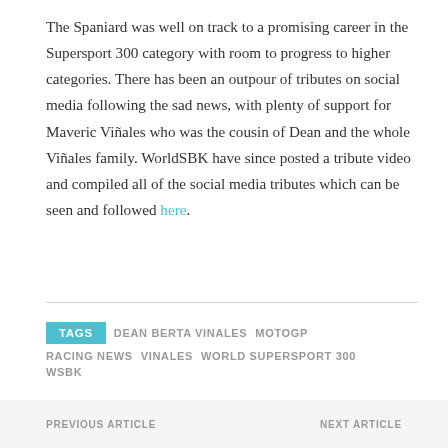The Spaniard was well on track to a promising career in the Supersport 300 category with room to progress to higher categories. There has been an outpour of tributes on social media following the sad news, with plenty of support for Maveric Viñales who was the cousin of Dean and the whole Viñales family. WorldSBK have since posted a tribute video and compiled all of the social media tributes which can be seen and followed here.
TAGS  DEAN BERTA VINALES  MOTOGP  RACING NEWS  VINALES  WORLD SUPERSPORT 300  WSBK
PREVIOUS ARTICLE    NEXT ARTICLE